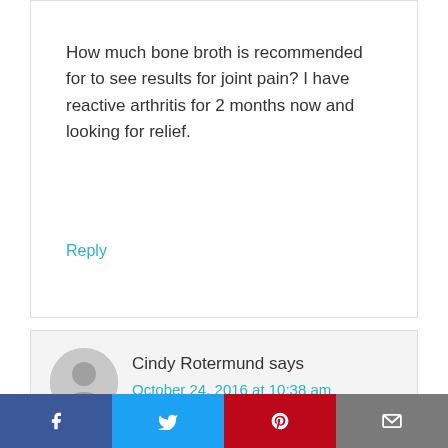How much bone broth is recommended for to see results for joint pain? I have reactive arthritis for 2 months now and looking for relief.
Reply
Cindy Rotermund says
October 24, 2016 at 10:38 am
I get a fully pastured cow every year from a local farmer, I get as many bones as i can fit in my